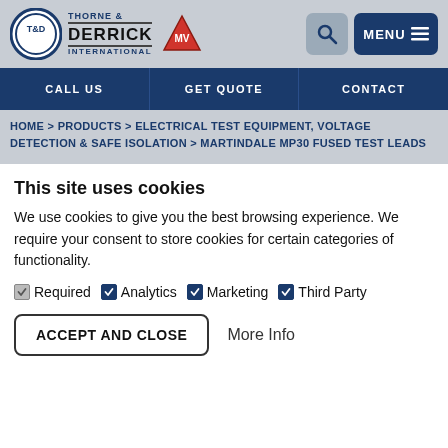Thorne & Derrick International — MV Cables
CALL US | GET QUOTE | CONTACT
HOME > PRODUCTS > ELECTRICAL TEST EQUIPMENT, VOLTAGE DETECTION & SAFE ISOLATION > MARTINDALE MP30 FUSED TEST LEADS
This site uses cookies
We use cookies to give you the best browsing experience. We require your consent to store cookies for certain categories of functionality.
Required  Analytics  Marketing  Third Party
ACCEPT AND CLOSE   More Info